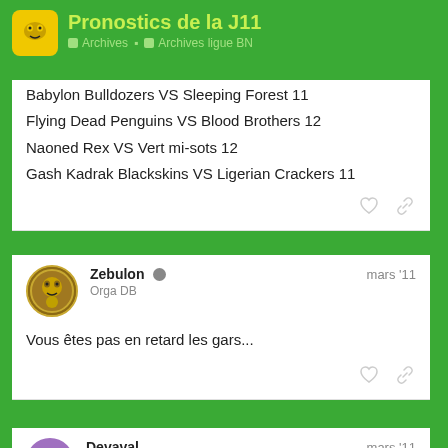Pronostics de la J11 | Archives | Archives ligue BN
Babylon Bulldozers VS Sleeping Forest 11
Flying Dead Penguins VS Blood Brothers 12
Naoned Rex VS Vert mi-sots 12
Gash Kadrak Blackskins VS Ligerian Crackers 11
Zebulon — Orga DB — mars '11
Vous êtes pas en retard les gars...
Devaval — Paquet de bn — mars '11
Tant que j'y suis.